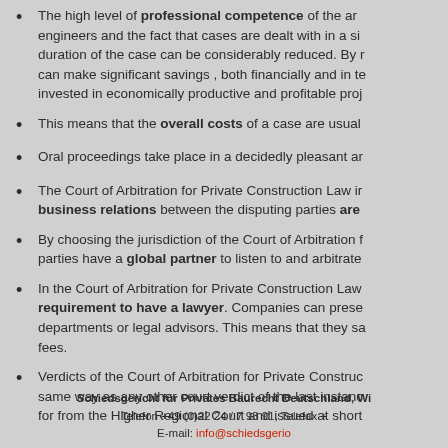The high level of professional competence of the arbitration engineers and the fact that cases are dealt with in a similar way, the duration of the case can be considerably reduced. By making savings, you can make significant savings , both financially and in terms of time, invested in economically productive and profitable projects.
This means that the overall costs of a case are usually lower.
Oral proceedings take place in a decidedly pleasant atmosphere.
The Court of Arbitration for Private Construction Law in Germany business relations between the disputing parties are maintained.
By choosing the jurisdiction of the Court of Arbitration for Private Construction Law, parties have a global partner to listen to and arbitrate disputes.
In the Court of Arbitration for Private Construction Law there is no requirement to have a lawyer. Companies can present themselves or their departments or legal advisors. This means that they save on lawyer fees.
Verdicts of the Court of Arbitration for Private Construction Law are enforceable in the same way as any other court verdict of the last instance, that has been applied for from the Higher Regional Court and issued at short notice.
Schiedsgericht für Privates Baurecht Deutschland, Wi... Telefon +49 (0)22 24 / 7 93 91, Telefax +... E-mail: info@schiedsgeri...